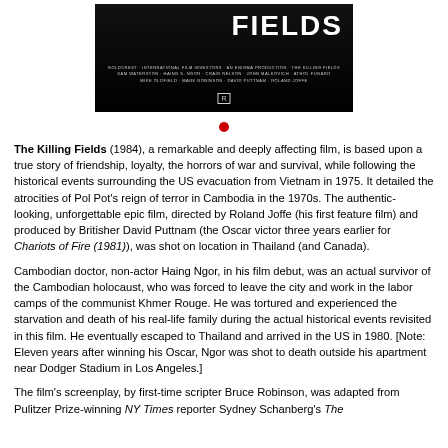[Figure (photo): Movie poster for The Killing Fields (1984) — black background with large white text 'FIELDS' visible, credits and R rating at bottom]
The Killing Fields (1984), a remarkable and deeply affecting film, is based upon a true story of friendship, loyalty, the horrors of war and survival, while following the historical events surrounding the US evacuation from Vietnam in 1975. It detailed the atrocities of Pol Pot's reign of terror in Cambodia in the 1970s. The authentic-looking, unforgettable epic film, directed by Roland Joffe (his first feature film) and produced by Britisher David Puttnam (the Oscar victor three years earlier for Chariots of Fire (1981)), was shot on location in Thailand (and Canada).
Cambodian doctor, non-actor Haing Ngor, in his film debut, was an actual survivor of the Cambodian holocaust, who was forced to leave the city and work in the labor camps of the communist Khmer Rouge. He was tortured and experienced the starvation and death of his real-life family during the actual historical events revisited in this film. He eventually escaped to Thailand and arrived in the US in 1980. [Note: Eleven years after winning his Oscar, Ngor was shot to death outside his apartment near Dodger Stadium in Los Angeles.]
The film's screenplay, by first-time scripter Bruce Robinson, was adapted from Pulitzer Prize-winning NY Times reporter Sydney Schanberg's The